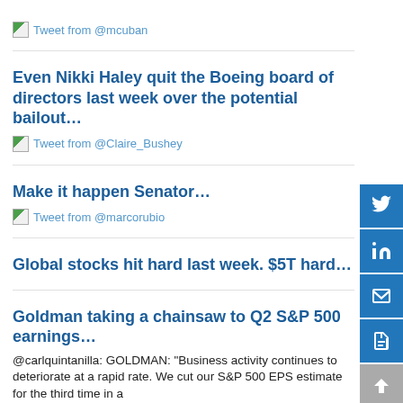[Figure (screenshot): Tweet placeholder image from @mcuban]
Tweet from @mcuban
Even Nikki Haley quit the Boeing board of directors last week over the potential bailout…
[Figure (screenshot): Tweet placeholder image from @Claire_Bushey]
Tweet from @Claire_Bushey
Make it happen Senator…
[Figure (screenshot): Tweet placeholder image from @marcorubio]
Tweet from @marcorubio
Global stocks hit hard last week. $5T hard…
Goldman taking a chainsaw to Q2 S&P 500 earnings…
@carlquintanilla: GOLDMAN: "Business activity continues to deteriorate at a rapid rate. We cut our S&P 500 EPS estimate for the third time in a